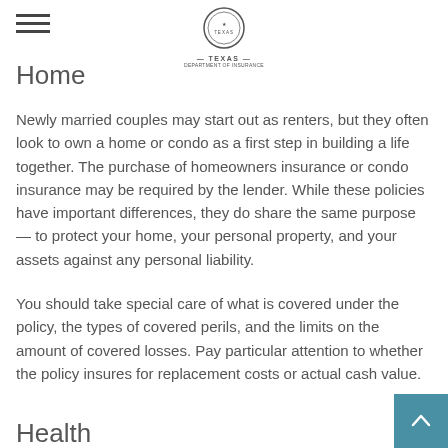Texas Department of Insurance
Home
Newly married couples may start out as renters, but they often look to own a home or condo as a first step in building a life together. The purchase of homeowners insurance or condo insurance may be required by the lender. While these policies have important differences, they do share the same purpose — to protect your home, your personal property, and your assets against any personal liability.
You should take special care of what is covered under the policy, the types of covered perils, and the limits on the amount of covered losses. Pay particular attention to whether the policy insures for replacement costs or actual cash value.
Health